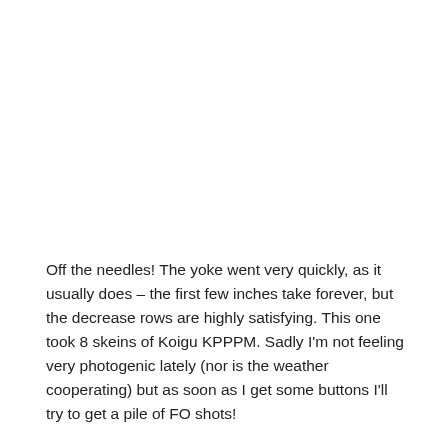Off the needles! The yoke went very quickly, as it usually does – the first few inches take forever, but the decrease rows are highly satisfying. This one took 8 skeins of Koigu KPPPM. Sadly I'm not feeling very photogenic lately (nor is the weather cooperating) but as soon as I get some buttons I'll try to get a pile of FO shots!
Meanwhile, I'm considering the next sweater project – Malabrigo Twist perhaps?